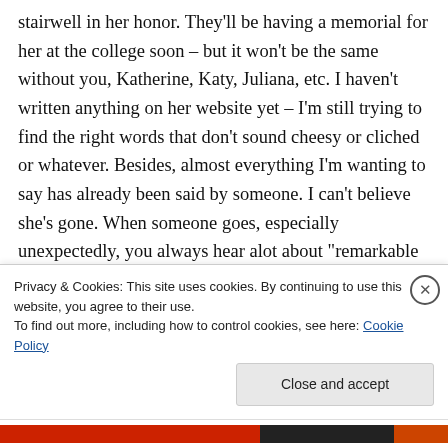stairwell in her honor. They'll be having a memorial for her at the college soon – but it won't be the same without you, Katherine, Katy, Juliana, etc. I haven't written anything on her website yet – I'm still trying to find the right words that don't sound cheesy or cliched or whatever. Besides, almost everything I'm wanting to say has already been said by someone. I can't believe she's gone. When someone goes, especially unexpectedly, you always hear alot about "remarkable person."
Privacy & Cookies: This site uses cookies. By continuing to use this website, you agree to their use.
To find out more, including how to control cookies, see here: Cookie Policy
Close and accept